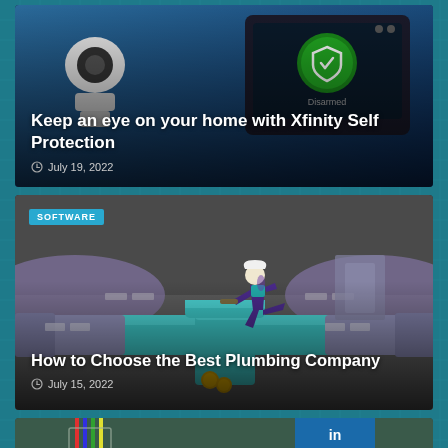[Figure (photo): Photo of a white home security robot camera and a smart home control tablet displaying a green 'Disarmed' status screen, on a dark blue-teal background.]
Keep an eye on your home with Xfinity Self Protection
July 19, 2022
[Figure (illustration): Illustration of a plumber figure in purple kneeling on large teal/green pipes, with coins visible at bottom, against a grey industrial background.]
SOFTWARE
How to Choose the Best Plumbing Company
July 15, 2022
[Figure (photo): Partial photo at the bottom of the page showing a desk with pens/pencils in a glass and what appears to be a blue LinkedIn or similar icon/card.]